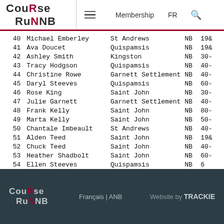CourseRunNB — Membership FR [search]
| # | Name | City | Prov | Age |
| --- | --- | --- | --- | --- |
| 40 | Michael Emberley | St Andrews | NB | 19& |
| 41 | Ava Doucet | Quispamsis | NB | 19& |
| 42 | Ashley Smith | Kingston | NB | 30- |
| 43 | Tracy Hodgson | Quispamsis | NB | 40- |
| 44 | Christine Rowe | Garnett Settlement | NB | 40- |
| 45 | Daryl Steeves | Quispamsis | NB | 60- |
| 46 | Rose King | Saint John | NB | 30- |
| 47 | Julie Garnett | Garnett Settlement | NB | 40- |
| 48 | Frank Kelly | Saint John | NB | 80- |
| 49 | Marta Kelly | Saint John | NB | 50- |
| 50 | Chantale Imbeault | St Andrews | NB | 40- |
| 51 | Alden Teed | Saint John | NB | 19& |
| 52 | Chuck Teed | Saint John | NB | 40- |
| 53 | Heather Shadbolt | Saint John | NB | 60- |
| 54 | Ellen Steeves | Quispamsis | NB | 6 |
CourseRunNB  Français | ANB  Website by TRACKIE